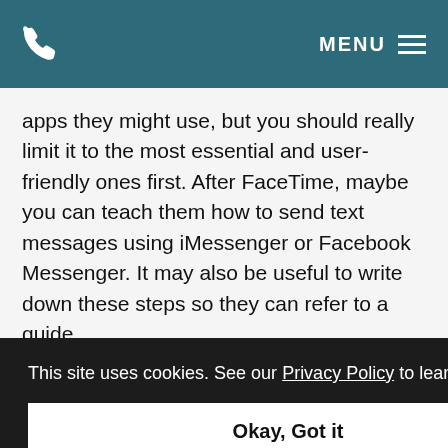MENU
apps they might use, but you should really limit it to the most essential and user-friendly ones first. After FaceTime, maybe you can teach them how to send text messages using iMessenger or Facebook Messenger. It may also be useful to write down these steps so they can refer to a guide.
This site uses cookies. See our Privacy Policy to learn more.
Okay, Got it
oved any help. Technology can be really complicated for